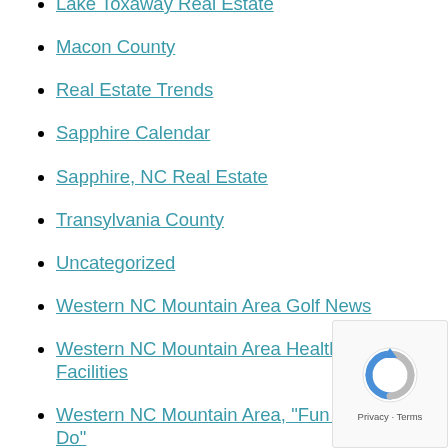Lake Toxaway Real Estate
Macon County
Real Estate Trends
Sapphire Calendar
Sapphire, NC Real Estate
Transylvania County
Uncategorized
Western NC Mountain Area Golf News
Western NC Mountain Area Health Care Facilities
Western NC Mountain Area, "Fun Things to Do"
Western NC Mountain Area, "Green," News
[Figure (logo): Google reCAPTCHA badge with spinning logo and Privacy - Terms text]